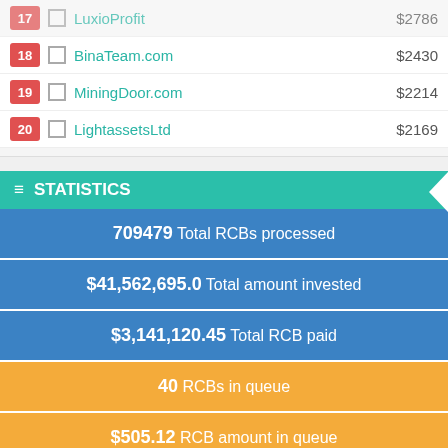17 LuxioProfit $2786
18 BinaTeam.com $2430
19 MiningDoor.com $2214
20 LightassetsLtd $2169
STATISTICS
709479 Total RCBs processed
$41,562,695.0 Total amount invested
$3,141,120.45 Total RCB paid
40 RCBs in queue
$505.12 RCB amount in queue
64 RCBs processed today